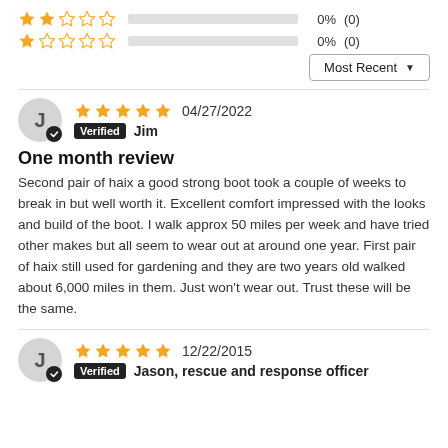[Figure (other): 2-star rating row with empty bar, 0%, (0)]
[Figure (other): 1-star rating row with empty bar, 0%, (0)]
[Figure (other): Most Recent dropdown sort selector]
[Figure (other): Reviewer avatar circle with J and verified checkmark, 5-star rating, date 04/27/2022, Verified badge, name Jim]
One month review
Second pair of haix a good strong boot took a couple of weeks to break in but well worth it. Excellent comfort impressed with the looks and build of the boot. I walk approx 50 miles per week and have tried other makes but all seem to wear out at around one year. First pair of haix still used for gardening and they are two years old walked about 6,000 miles in them. Just won’t wear out. Trust these will be the same.
[Figure (other): Reviewer avatar circle with J and verified checkmark, 5-star rating, date 12/22/2015, Verified badge, name Jason, rescue and response officer]